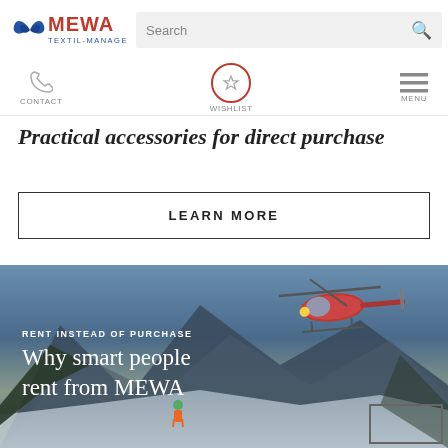[Figure (logo): MEWA Textil-Management logo with leaf/heart icon in blue and red text]
Search
[Figure (infographic): Navigation bar with phone/CONTACT icon, circular wishlist star icon, and hamburger MENU icon]
Practical accessories for direct purchase
LEARN MORE
[Figure (photo): Hero image showing a helicopter flying over snowy mountains with a person in orange gear below. Text overlay reads: RENT INSTEAD OF PURCHASE / Why smart people rent from MEWA]